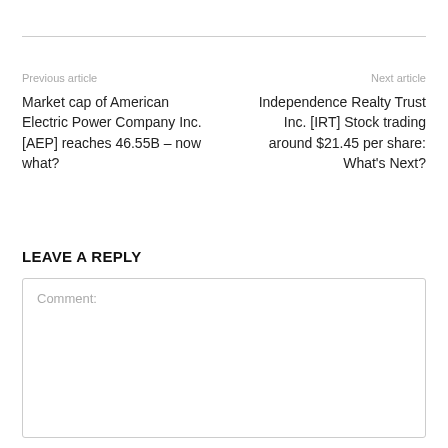Previous article
Next article
Market cap of American Electric Power Company Inc. [AEP] reaches 46.55B – now what?
Independence Realty Trust Inc. [IRT] Stock trading around $21.45 per share: What's Next?
LEAVE A REPLY
Comment: